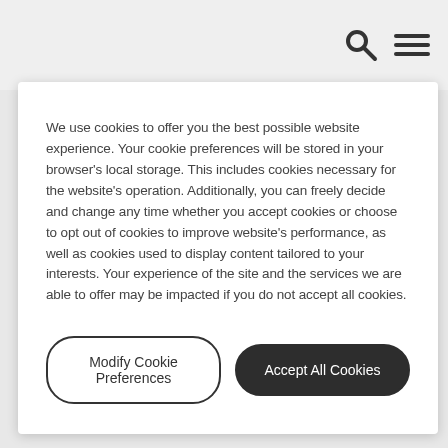We use cookies to offer you the best possible website experience. Your cookie preferences will be stored in your browser's local storage. This includes cookies necessary for the website's operation. Additionally, you can freely decide and change any time whether you accept cookies or choose to opt out of cookies to improve website's performance, as well as cookies used to display content tailored to your interests. Your experience of the site and the services we are able to offer may be impacted if you do not accept all cookies.
Modify Cookie Preferences
Accept All Cookies